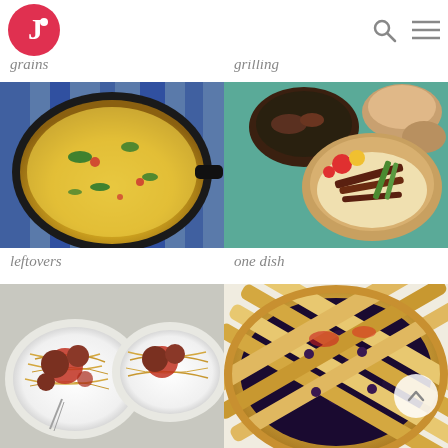[Figure (logo): Circular red logo with white letter J and dot]
[Figure (other): Search icon (magnifying glass) and hamburger menu icon in header]
grains
grilling
[Figure (photo): Cast iron skillet with frittata or egg dish with herbs and vegetables]
[Figure (photo): Grilled meat bowl with asparagus, tomatoes and wooden bowls with grilled items]
leftovers
one dish
[Figure (photo): Spaghetti with meatballs and tomato sauce on white plates]
[Figure (photo): Lattice-top pie with blueberry filling, golden crust]